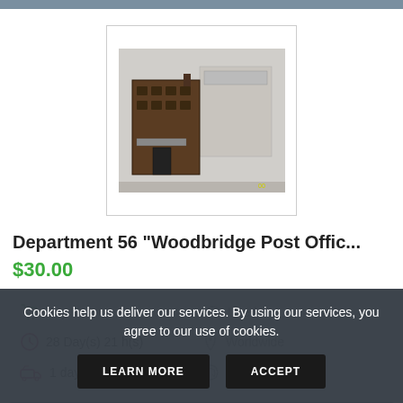[Figure (photo): Product thumbnail photo of Department 56 Woodbridge Post Office ceramic building collectible inside a white bordered square frame]
Department 56 "Woodbridge Post Offic...
$30.00
Buy Now | Used | 28 Day(s) 21 h(s) | Worldwide | 1 day | No Returns
BUY NOW
Cookies help us deliver our services. By using our services, you agree to our use of cookies.
LEARN MORE  ACCEPT